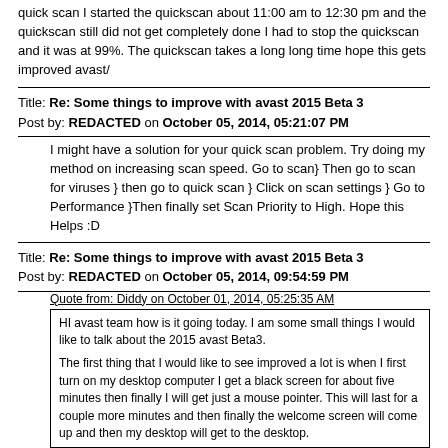quick scan I started the quickscan about 11:00 am to 12:30 pm and the quickscan still did not get completely done I had to stop the quickscan and it was at 99%.  The quickscan takes a long long time hope this gets improved avast/
Title: Re: Some things to improve with avast 2015 Beta 3
Post by: REDACTED on October 05, 2014, 05:21:07 PM
I might have a solution for your quick scan problem. Try doing my method on increasing scan speed. Go to scan} Then go to scan for viruses } then go to quick scan } Click on scan settings } Go to Performance }Then finally set Scan Priority to High. Hope this Helps :D
Title: Re: Some things to improve with avast 2015 Beta 3
Post by: REDACTED on October 05, 2014, 09:54:59 PM
Quote from: Diddy on October 01, 2014, 05:25:35 AM
HI avast team how is it going today.  I am some small things I would like to talk about the 2015 avast Beta3.

The first thing that I would like to see improved a lot is when I first turn on my desktop computer I get a black screen for about five minutes then finally I will get just a mouse pointer.  This will last for a couple more minutes and then finally the welcome screen will come up and then my desktop will get to the desktop.
I have a similar issue.  After every restart Im stucked before the